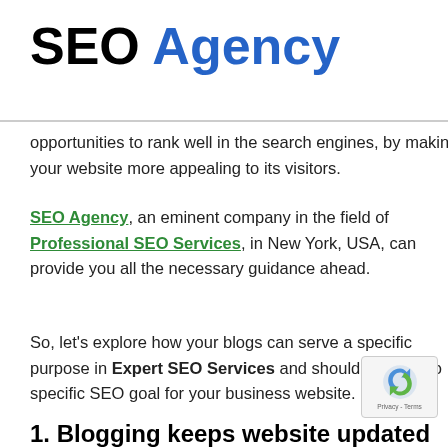SEO Agency
opportunities to rank well in the search engines, by making your website more appealing to its visitors.
SEO Agency, an eminent company in the field of Professional SEO Services, in New York, USA, can provide you all the necessary guidance ahead.
So, let’s explore how your blogs can serve a specific purpose in Expert SEO Services and should be used to specific SEO goal for your business website.
1. Blogging keeps website updated